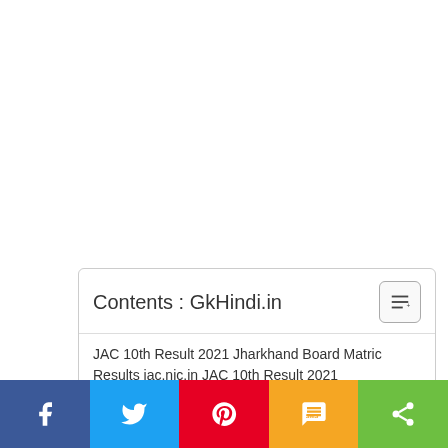Contents : GkHindi.in
JAC 10th Result 2021 Jharkhand Board Matric Results jac.nic.in JAC 10th Result 2021
JAC Matric Result Jharkhand 10th Result 2021 By Name